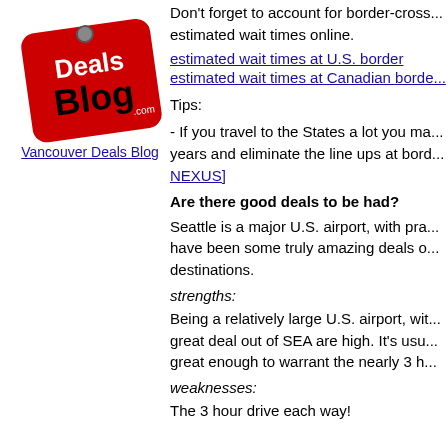[Figure (logo): Vancouver Deals Blog logo — red price tag shape with 'Deals Blog .com' text]
Vancouver Deals Blog
Don't forget to account for border-cross... estimated wait times online.
estimated wait times at U.S. border
estimated wait times at Canadian borde...
Tips:
- If you travel to the States a lot you ma... years and eliminate the line ups at bord... NEXUS]
Are there good deals to be had?
Seattle is a major U.S. airport, with pra... have been some truly amazing deals o... destinations.
strengths:
Being a relatively large U.S. airport, wit... great deal out of SEA are high. It's usu... great enough to warrant the nearly 3 h...
weaknesses:
The 3 hour drive each way!